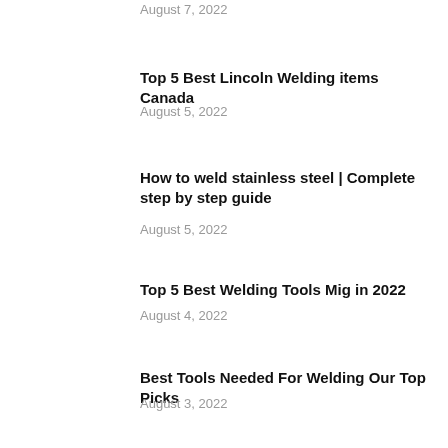August 7, 2022
Top 5 Best Lincoln Welding items Canada
August 5, 2022
How to weld stainless steel | Complete step by step guide
August 5, 2022
Top 5 Best Welding Tools Mig in 2022
August 4, 2022
Best Tools Needed For Welding Our Top Picks
August 3, 2022